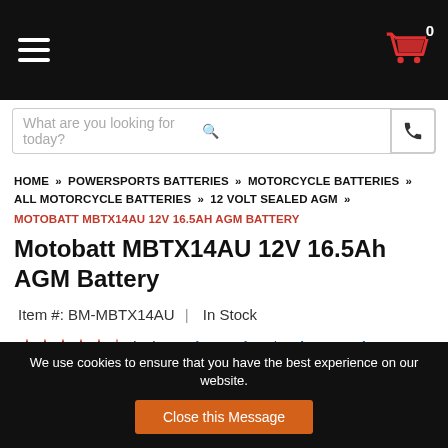Navigation bar with hamburger menu and cart icon (0 items)
What are you looking for today?
HOME » POWERSPORTS BATTERIES » MOTORCYCLE BATTERIES » ALL MOTORCYCLE BATTERIES » 12 VOLT SEALED AGM » MOTOBATT MBTX14AU 12V 16.5AH AGM BATTERY
Motobatt MBTX14AU 12V 16.5Ah AGM Battery
Item #: BM-MBTX14AU  |  In Stock
★★★★½ (14) Read a Review / Write a Review
Free Shipping
We use cookies to ensure that you have the best experience on our website. Close this Message